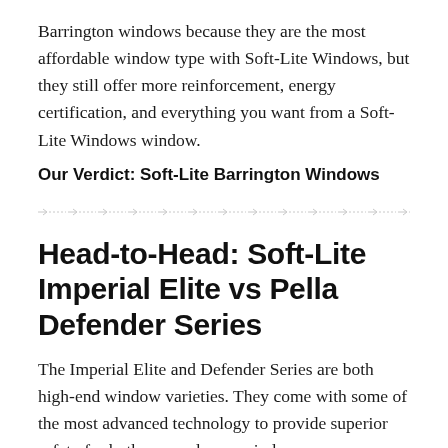Barrington windows because they are the most affordable window type with Soft-Lite Windows, but they still offer more reinforcement, energy certification, and everything you want from a Soft-Lite Windows window.
Our Verdict: Soft-Lite Barrington Windows
Head-to-Head: Soft-Lite Imperial Elite vs Pella Defender Series
The Imperial Elite and Defender Series are both high-end window varieties. They come with some of the most advanced technology to provide superior safety for both you and your windows.